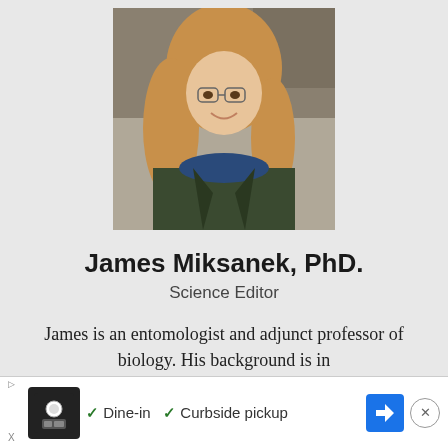[Figure (photo): Headshot photo of James Miksanek, a young person with long reddish-blonde hair and glasses, wearing a dark green coat and blue scarf, smiling outdoors]
James Miksanek, PhD.
Science Editor
James is an entomologist and adjunct professor of biology. His background is in biology, and he also has experience for s
[Figure (infographic): Advertisement bar: play button, food restaurant icon, checkmark Dine-in, checkmark Curbside pickup, blue arrow navigation icon, close button X]